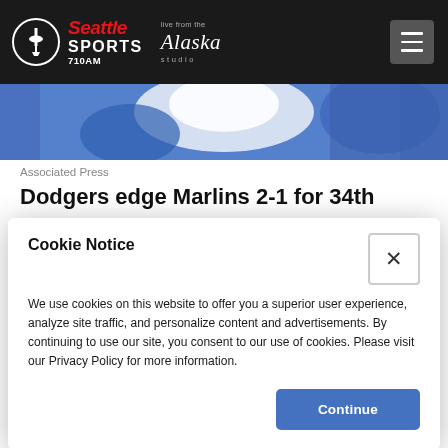Seattle Sports 710AM — Live from the Alaska studio
[Figure (photo): Sports action photo showing players in blue and white uniforms, partially visible, cropped banner image]
Associated Press
Dodgers edge Marlins 2-1 for 34th
Cookie Notice
We use cookies on this website to offer you a superior user experience, analyze site traffic, and personalize content and advertisements. By continuing to use our site, you consent to our use of cookies. Please visit our Privacy Policy for more information.
Continue